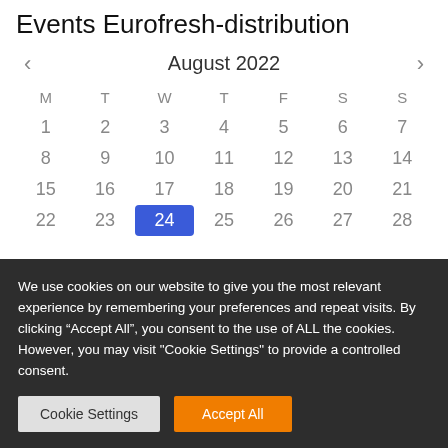Events Eurofresh-distribution
| M | T | W | T | F | S | S |
| --- | --- | --- | --- | --- | --- | --- |
| 1 | 2 | 3 | 4 | 5 | 6 | 7 |
| 8 | 9 | 10 | 11 | 12 | 13 | 14 |
| 15 | 16 | 17 | 18 | 19 | 20 | 21 |
| 22 | 23 | 24 | 25 | 26 | 27 | 28 |
We use cookies on our website to give you the most relevant experience by remembering your preferences and repeat visits. By clicking “Accept All”, you consent to the use of ALL the cookies. However, you may visit "Cookie Settings" to provide a controlled consent.